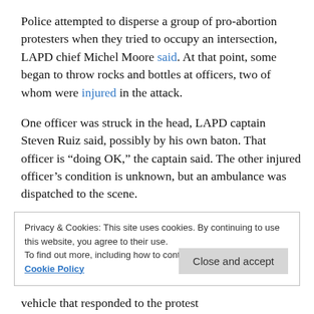Police attempted to disperse a group of pro-abortion protesters when they tried to occupy an intersection, LAPD chief Michel Moore said. At that point, some began to throw rocks and bottles at officers, two of whom were injured in the attack.
One officer was struck in the head, LAPD captain Steven Ruiz said, possibly by his own baton. That officer is “doing OK,” the captain said. The other injured officer’s condition is unknown, but an ambulance was dispatched to the scene.
Privacy & Cookies: This site uses cookies. By continuing to use this website, you agree to their use. To find out more, including how to control cookies, see here: Cookie Policy
Close and accept
vehicle that responded to the protest